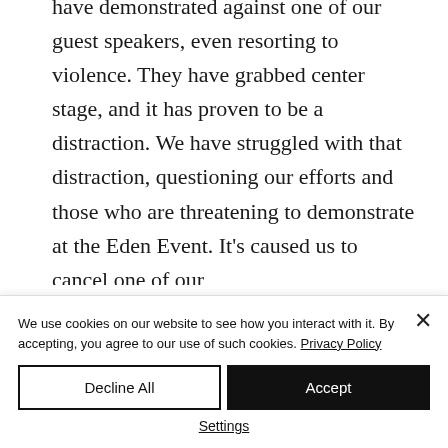have demonstrated against one of our guest speakers, even resorting to violence. They have grabbed center stage, and it has proven to be a distraction. We have struggled with that distraction, questioning our efforts and those who are threatening to demonstrate at the Eden Event. It's caused us to cancel one of our
We use cookies on our website to see how you interact with it. By accepting, you agree to our use of such cookies. Privacy Policy
Decline All
Accept
Settings